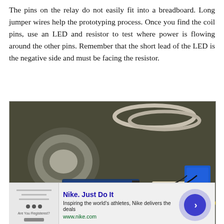The pins on the relay do not easily fit into a breadboard. Long jumper wires help the prototyping process. Once you find the coil pins, use an LED and resistor to test where power is flowing around the other pins. Remember that the short lead of the LED is the negative side and must be facing the resistor.
[Figure (photo): A photograph showing an Arduino microcontroller board connected via jumper wires to a breadboard with a relay (blue component) mounted on it. An LED is glowing red on the breadboard. A spool of solder wire is visible in the upper left. The components sit on a carpet surface.]
[Figure (screenshot): Advertisement banner for Nike: 'Nike. Just Do It' with tagline 'Inspiring the world's athletes, Nike delivers the deals' and URL www.nike.com. Includes an arrow button and Nike branding image.]